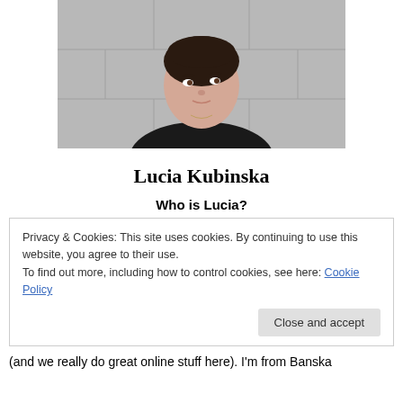[Figure (photo): Portrait photo of a young woman with dark hair pulled back, wearing a black top, against a grey tiled wall background.]
Lucia Kubinska
Who is Lucia?
Privacy & Cookies: This site uses cookies. By continuing to use this website, you agree to their use.
To find out more, including how to control cookies, see here: Cookie Policy
[Close and accept]
(and we really do great online stuff here). I'm from Banska